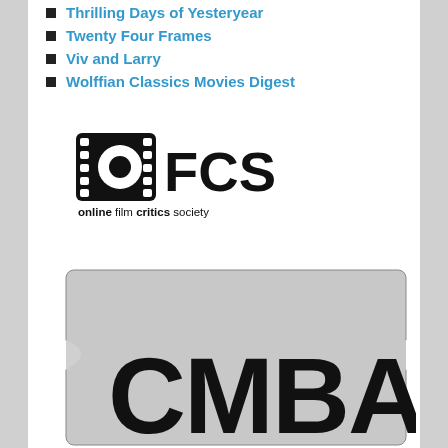Thrilling Days of Yesteryear
Twenty Four Frames
Viv and Larry
Wolffian Classics Movies Digest
[Figure (logo): OFCS (Online Film Critics Society) logo: film strip icon with circle and 'FCS' text, below it 'online film critics society' in mixed weights]
[Figure (logo): CMBA logo: movie ticket stub shape in gray with large bold 'CMBA' letters in black]